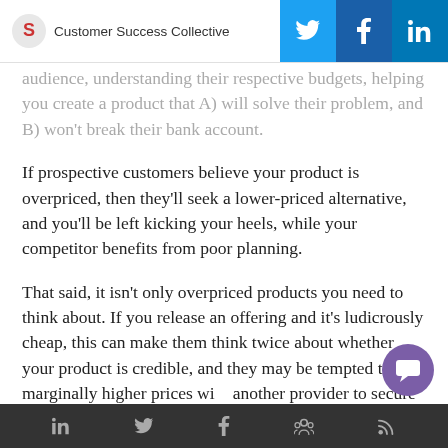Customer Success Collective
audience, understanding their respective budgets, helping you create a product that A) will solve their problem, and B) won't break their bank account.
If prospective customers believe your product is overpriced, then they'll seek a lower-priced alternative, and you'll be left kicking your heels, while your competitor benefits from poor planning.
That said, it isn't only overpriced products you need to think about. If you release an offering and it's ludicrously cheap, this can make them think twice about whether your product is credible, and they may be tempted to pay marginally higher prices with another provider to secure a product they perce
Social media icons: LinkedIn, Twitter, Facebook, Community, RSS